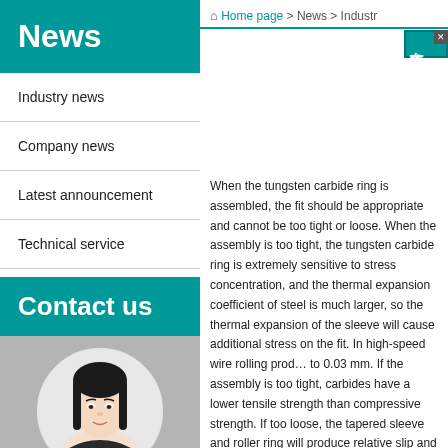News
Industry news
Company news
Latest announcement
Technical service
Contact us
[Figure (photo): Portrait photo of a young woman with long black hair, wearing a dark blazer, shown in a circular frame against a blurred grey background.]
Home page > News > Industr...
When the tungsten carbide ring is assembled, the fit should be appropriate and cannot be too tight or loose. When the assembly is too tight, the tungsten carbide ring is extremely sensitive to stress concentration, and the thermal expansion coefficient of steel is much larger, so the thermal expansion of the sleeve will cause additional stress on the fit. In high-speed wire rolling production, the interference is usually 0 to 0.03 mm. If the assembly is too tight, it should be noted that carbides have a lower tensile strength than compressive strength. If too loose, the tapered sleeve and roller ring will produce relative slip and severely damage the roll ring. The contact surfaces of the roller ring and the outer ring of the sleeve must be clean to prevent particles from scratching the joint surface, because cemented carbide is brittle material. Therefore, it is strictly forbidden to knock the roller ring.